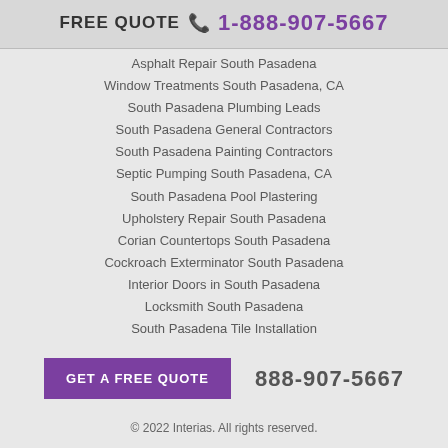FREE QUOTE 1-888-907-5667
Asphalt Repair South Pasadena
Window Treatments South Pasadena, CA
South Pasadena Plumbing Leads
South Pasadena General Contractors
South Pasadena Painting Contractors
Septic Pumping South Pasadena, CA
South Pasadena Pool Plastering
Upholstery Repair South Pasadena
Corian Countertops South Pasadena
Cockroach Exterminator South Pasadena
Interior Doors in South Pasadena
Locksmith South Pasadena
South Pasadena Tile Installation
GET A FREE QUOTE   888-907-5667
© 2022 Interias. All rights reserved.